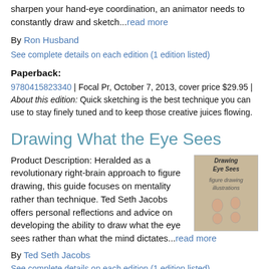sharpen your hand-eye coordination, an animator needs to constantly draw and sketch...read more
By Ron Husband
See complete details on each edition (1 edition listed)
Paperback:
9780415823340 | Focal Pr, October 7, 2013, cover price $29.95 | About this edition: Quick sketching is the best technique you can use to stay finely tuned and to keep those creative juices flowing.
Drawing What the Eye Sees
Product Description: Heralded as a revolutionary right-brain approach to figure drawing, this guide focuses on mentality rather than technique. Ted Seth Jacobs offers personal reflections and advice on developing the ability to draw what the eye sees rather than what the mind dictates...read more
[Figure (illustration): Book cover for 'Drawing What the Eye Sees' showing figure drawing illustrations]
By Ted Seth Jacobs
See complete details on each edition (1 edition listed)
Paperback: